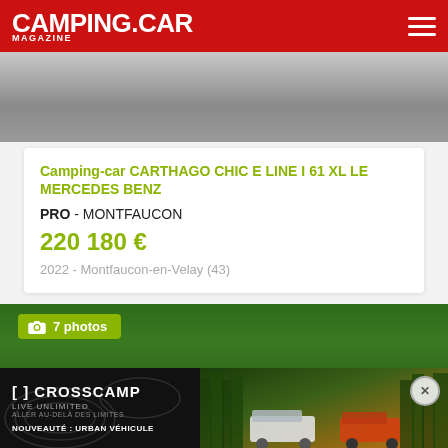CAMPING.CAR MAGAZINE
[Figure (photo): Top portion of a grey camping car vehicle undercarriage/parking area photo]
Camping-car CARTHAGO CHIC E LINE I 61 XL LE MERCEDES BENZ
PRO - MONTFAUCON
220 180 €
2022 - Montfaucon-en-Velay (43)
[Figure (photo): Forest background photo with green trees, with '7 photos' badge overlay]
[Figure (screenshot): CROSSCAMP advertisement - black left panel with brand name and 'LIVE UNLIMITED ALLER AU-DELÀ DES LIMITES', right panel shows camping vans in forest]
NOUVEAUTÉ : URBAN VÉHICULE